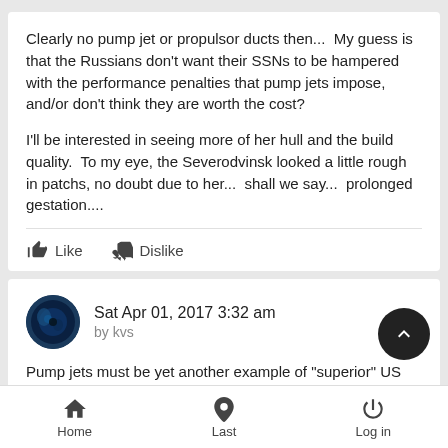Clearly no pump jet or propulsor ducts then...  My guess is that the Russians don't want their SSNs to be hampered with the performance penalties that pump jets impose, and/or don't think they are worth the cost?

I'll be interested in seeing more of her hull and the build quality.  To my eye, the Severodvinsk looked a little rough in patchs, no doubt due to her...  shall we say...  prolonged gestation....
Sat Apr 01, 2017 3:32 am
by kvs
Pump jets must be yet another example of "superior" US technology that stupid Russians can't match.

I can see a good reason for not using them: they are a sound...